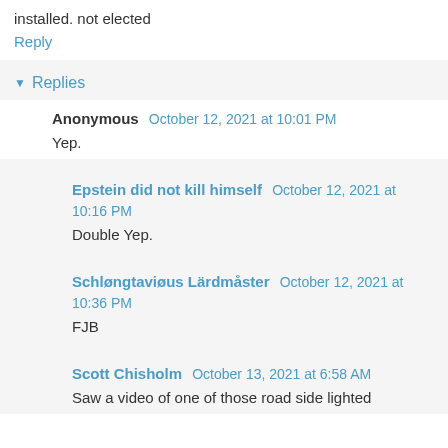installed. not elected
Reply
Replies
Anonymous  October 12, 2021 at 10:01 PM
Yep.
Epstein did not kill himself  October 12, 2021 at 10:16 PM
Double Yep.
Schløngtaviøus Lärdmåster  October 12, 2021 at 10:36 PM
FJB
Scott Chisholm  October 13, 2021 at 6:58 AM
Saw a video of one of those road side lighted